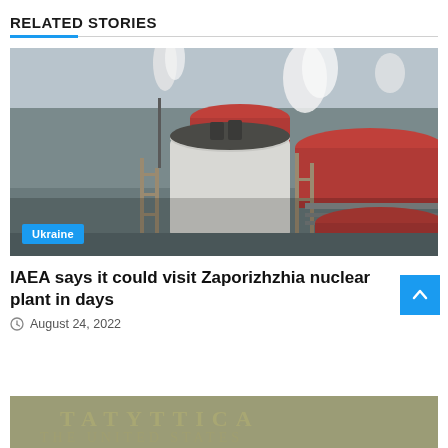RELATED STORIES
[Figure (photo): Aerial view of Zaporizhzhia nuclear power plant with steam rising from reactor buildings, industrial scaffolding and red-topped dome structures visible. Ukraine tag overlay at bottom left.]
IAEA says it could visit Zaporizhzhia nuclear plant in days
August 24, 2022
[Figure (photo): Partial view of what appears to be currency or financial imagery at the bottom of the page.]